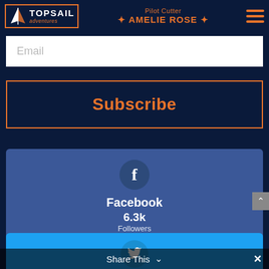Topsail Adventures — Pilot Cutter AMELIE ROSE
Email
Subscribe
Facebook
6.3k
Followers
Twitter
1.1k
Share This